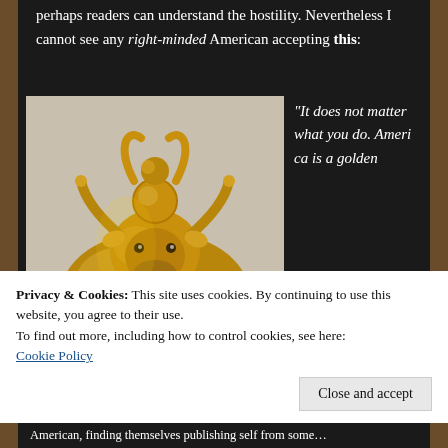perhaps readers can understand the hostility. Nevertheless I cannot see any right-minded American accepting this:
[Figure (photo): A golden bull statue or figurine with ornate decorative details, a disc or sphere on its back topped with a curved ornament, photographed against a light background.]
“It does not matter what you do. America is a golden
Privacy & Cookies: This site uses cookies. By continuing to use this website, you agree to their use.
To find out more, including how to control cookies, see here:
Cookie Policy
Close and accept
American, finding themselves publishing self from some